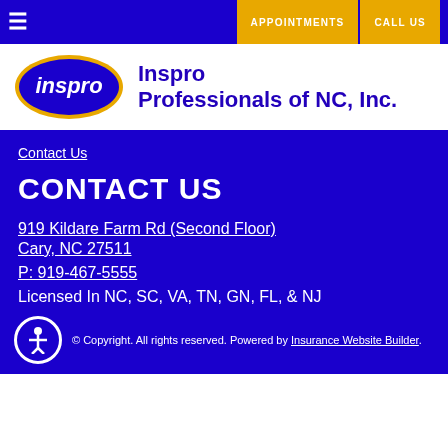APPOINTMENTS  CALL US
[Figure (logo): Inspro logo — yellow oval with blue border and italic white 'inspro' text]
Inspro Professionals of NC, Inc.
Contact Us
CONTACT US
919 Kildare Farm Rd (Second Floor)
Cary, NC 27511
P: 919-467-5555
Licensed In NC, SC, VA, TN, GN, FL, & NJ
© Copyright. All rights reserved. Powered by Insurance Website Builder.